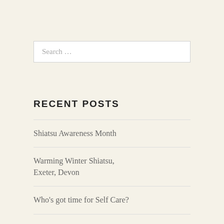Search …
RECENT POSTS
Shiatsu Awareness Month
Warming Winter Shiatsu, Exeter, Devon
Who's got time for Self Care?
Shiatsu No Matter the Weather